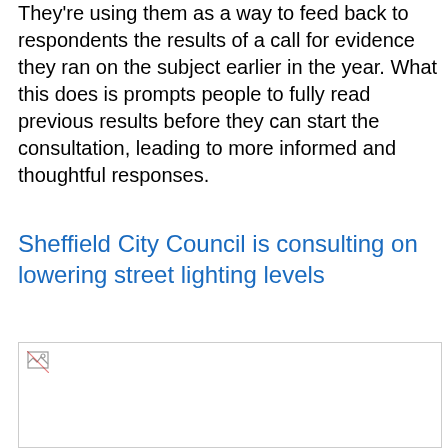They're using them as a way to feed back to respondents the results of a call for evidence they ran on the subject earlier in the year. What this does is prompts people to fully read previous results before they can start the consultation, leading to more informed and thoughtful responses.
Sheffield City Council is consulting on lowering street lighting levels
[Figure (photo): Image placeholder with broken image icon in top-left corner, content not loaded]